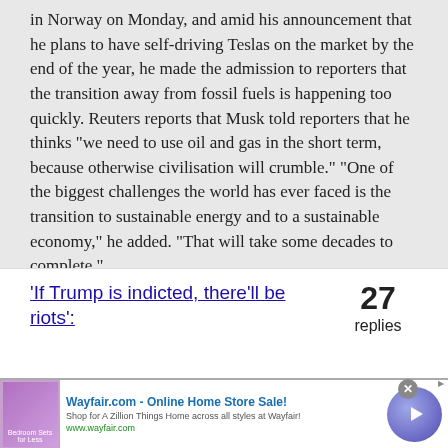in Norway on Monday, and amid his announcement that he plans to have self-driving Teslas on the market by the end of the year, he made the admission to reporters that the transition away from fossil fuels is happening too quickly. Reuters reports that Musk told reporters that he thinks "we need to use oil and gas in the short term, because otherwise civilisation will crumble." "One of the biggest challenges the world has ever faced is the transition to sustainable energy and to a sustainable economy," he added. "That will take some decades to complete."
'If Trump is indicted, there'll be riots':  27 replies
[Figure (other): Wayfair.com advertisement banner with bedroom furniture image, title 'Wayfair.com - Online Home Store Sale!', description 'Shop for A Zillion Things Home across all styles at Wayfair!', URL www.wayfair.com, and a circular play button on the right.]